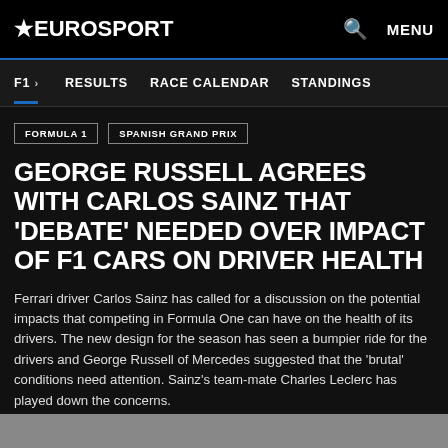EUROSPORT   Q  MENU
F1 >   RESULTS   RACE CALENDAR   STANDINGS
FORMULA 1   SPANISH GRAND PRIX
GEORGE RUSSELL AGREES WITH CARLOS SAINZ THAT 'DEBATE' NEEDED OVER IMPACT OF F1 CARS ON DRIVER HEALTH
Ferrari driver Carlos Sainz has called for a discussion on the potential impacts that competing in Formula One can have on the health of its drivers. The new design for the season has seen a bumpier ride for the drivers and George Russell of Mercedes suggested that the 'brutal' conditions need attention. Sainz's team-mate Charles Leclerc has played down the concerns.